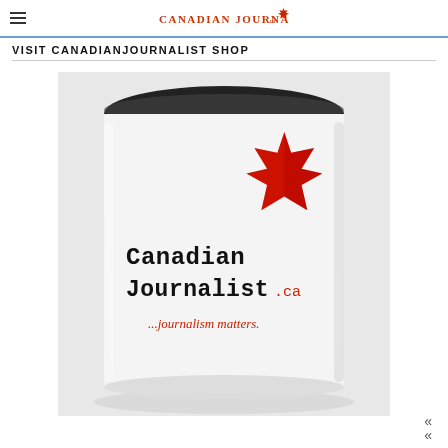Canadian Journalist
VISIT CANADIANJOURNALIST SHOP
[Figure (photo): A white ceramic mug with black interior, featuring the Canadian Journalist .ca logo with a red maple leaf, and the tagline '...journalism matters.' printed in red italic text on the mug.]